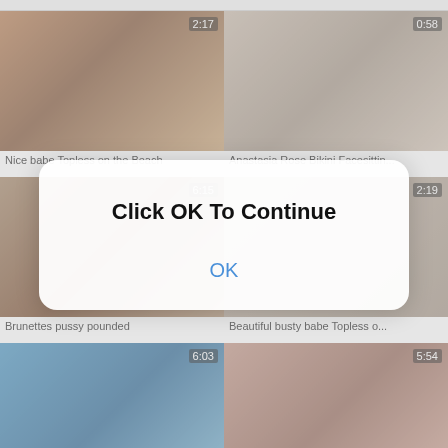[Figure (screenshot): Video thumbnail: Nice babe Topless on the Beach, duration 2:17]
Nice babe Topless on the Beach
[Figure (screenshot): Video thumbnail: Anastasia Rose Bikini Facesittin..., duration 0:58]
Anastasia Rose Bikini Facesittin...
[Figure (screenshot): Video thumbnail: Brunettes pussy pounded, duration 6:15]
Brunettes pussy pounded
[Figure (screenshot): Video thumbnail: Beautiful busty babe Topless o..., duration 2:19]
Beautiful busty babe Topless o...
[Figure (screenshot): Video thumbnail: underwater scene, duration 6:03]
[Figure (screenshot): Video thumbnail: bathroom scene, duration 5:54]
[Figure (infographic): Modal dialog overlay with text 'Click OK To Continue' and an OK button]
Click OK To Continue
OK